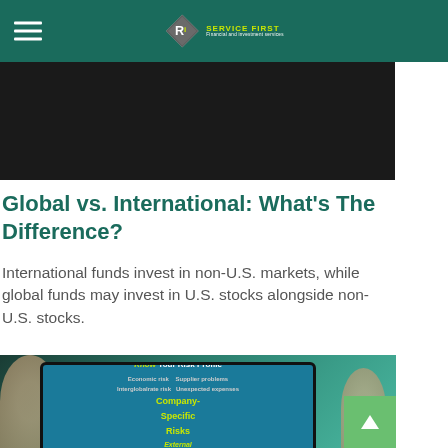Ri Service First
[Figure (photo): Dark hero banner image at top of page]
Global vs. International: What's The Difference?
International funds invest in non-U.S. markets, while global funds may invest in U.S. stocks alongside non-U.S. stocks.
[Figure (photo): Person holding a tablet displaying a risk profile diagram with text: Know Your Risk Profile, Economic risk, Company-Specific Risks, External risks, Interglobalrate risk, Supplier problems, Unexpected expenses, Tax risk]